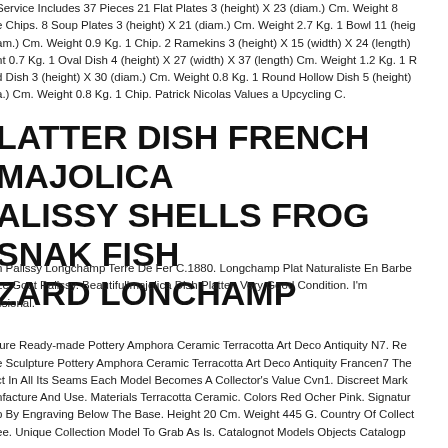Service Includes 37 Pieces 21 Flat Plates 3 (height) X 23 (diam.) Cm. Weight 8 ... Chips. 8 Soup Plates 3 (height) X 21 (diam.) Cm. Weight 2.7 Kg. 1 Bowl 11 (hei... am.) Cm. Weight 0.9 Kg. 1 Chip. 2 Ramekins 3 (height) X 15 (width) X 24 (length)... ht 0.7 Kg. 1 Oval Dish 4 (height) X 27 (width) X 37 (length) Cm. Weight 1.2 Kg. 1 R... d Dish 3 (height) X 30 (diam.) Cm. Weight 0.8 Kg. 1 Round Hollow Dish 5 (height)... a.) Cm. Weight 0.8 Kg. 1 Chip. Patrick Nicolas Values a Upcycling C.
PLATTER DISH FRENCH MAJOLICA PALISSY SHELLS FROG SNAK FISH LIZARD LONCHAMP
ch Palissy Longchamp Terre De Fer C.1880. Longchamp Plat Naturaliste En Barbe... Le Gout Palissy. Beautifullmajolica Dish Platter. Very Good Condition. I'm ...ssional.
ture Ready-made Pottery Amphora Ceramic Terracotta Art Deco Antiquity N7. Re... e Sculpture Pottery Amphora Ceramic Terracotta Art Deco Antiquity Francen7 The... ct In All Its Seams Each Model Becomes A Collector's Value Cvn1. Discreet Mark... nfacture And Use. Materials Terracotta Ceramic. Colors Red Ocher Pink. Signatur... p By Engraving Below The Base. Height 20 Cm. Weight 445 G. Country Of Collect... ee. Unique Collection Model To Grab As Is. Catalognot Models Objects Catalogp ...